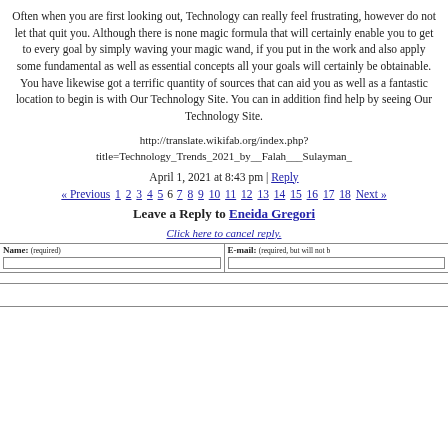Often when you are first looking out, Technology can really feel frustrating, however do not let that quit you. Although there is none magic formula that will certainly enable you to get to every goal by simply waving your magic wand, if you put in the work and also apply some fundamental as well as essential concepts all your goals will certainly be obtainable. You have likewise got a terrific quantity of sources that can aid you as well as a fantastic location to begin is with Our Technology Site. You can in addition find help by seeing Our Technology Site.
http://translate.wikifab.org/index.php?title=Technology_Trends_2021_by__Falah___Sulayman_
April 1, 2021 at 8:43 pm | Reply
« Previous 1 2 3 4 5 6 7 8 9 10 11 12 13 14 15 16 17 18 Next »
Leave a Reply to Eneida Gregori
Click here to cancel reply.
| Name: (required) | E-mail: (required, but will not be published) |
| --- | --- |
|  |  |